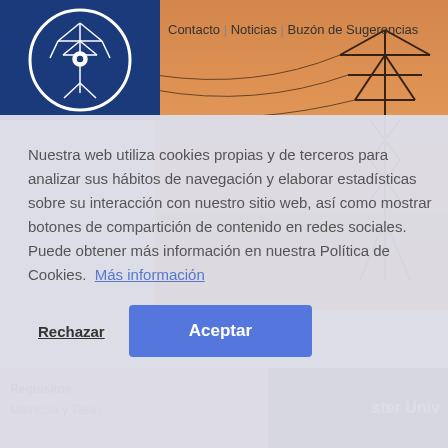[Figure (logo): Blue square with white circular logo featuring an electrical tower/engineering figure]
Contacto | Noticias | Buzón de Sugerencias
[Figure (photo): Photo of electrical power transmission tower at sunset/orange sky]
Nuestra web utiliza cookies propias y de terceros para analizar sus hábitos de navegación y elaborar estadísticas sobre su interacción con nuestro sitio web, así como mostrar botones de compartición de contenido en redes sociales. Puede obtener más información en nuestra Política de Cookies.  Más información
Rechazar
Aceptar
Requisitos
Matricula y Tasas
[Figure (screenshot): Partial dark grey box with white text 'ster Univ']